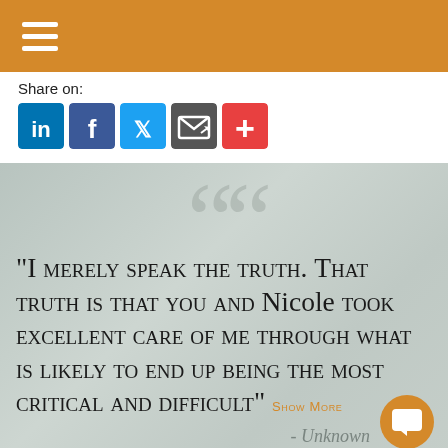[Figure (screenshot): Orange header bar with white hamburger menu icon (three horizontal lines)]
Share on:
[Figure (infographic): Row of social media share icons: LinkedIn (blue), Facebook (blue), Twitter (light blue), Email/share (dark gray), Plus/more (red)]
"I merely speak the truth. That truth is that you and Nicole took excellent care of me through what is likely to end up being the most critical and difficult" SHOW MORE
- Unknown